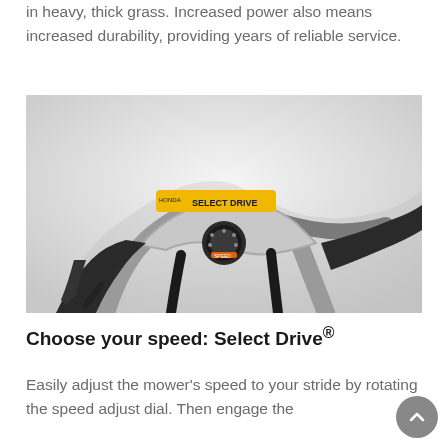in heavy, thick grass. Increased power also means increased durability, providing years of reliable service.
[Figure (photo): Close-up photo of a Honda Select Drive speed control mechanism on a lawn mower handlebar, showing the yellow-labeled 'Select Drive' dial and black ergonomic handle grips against a light grey background.]
Choose your speed: Select Drive®
Easily adjust the mower's speed to your stride by rotating the speed adjust dial. Then engage the